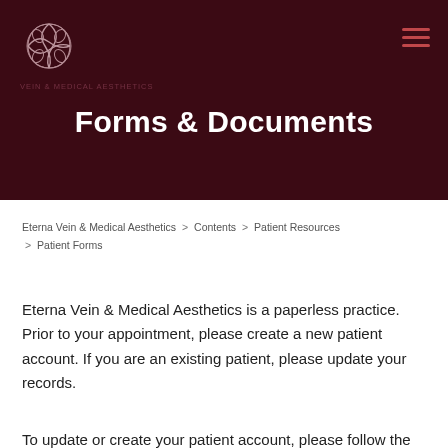[Figure (logo): Eterna Vein & Medical Aesthetics decorative knot logo in white on dark red background, with hamburger menu icon top right]
Forms & Documents
Eterna Vein & Medical Aesthetics  >  Contents  >  Patient Resources  >  Patient Forms
Eterna Vein & Medical Aesthetics is a paperless practice. Prior to your appointment, please create a new patient account. If you are an existing patient, please update your records.
To update or create your patient account, please follow the